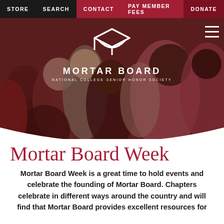STORE  SEARCH  CONTACT  PAY MEMBER FEES  DONATE
[Figure (photo): Group photo of diverse college students smiling, with Mortar Board logo overlay showing a graduation cap icon, the text 'MORTAR BOARD' and 'NATIONAL COLLEGE SENIOR HONOR SOCIETY']
Mortar Board Week
Mortar Board Week is a great time to hold events and celebrate the founding of Mortar Board. Chapters celebrate in different ways around the country and will find that Mortar Board provides excellent resources for